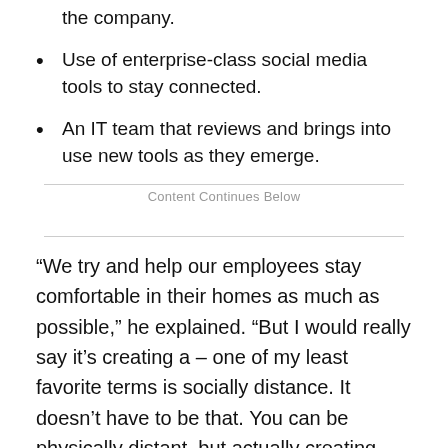the company.
Use of enterprise-class social media tools to stay connected.
An IT team that reviews and brings into use new tools as they emerge.
Content Continues Below
“We try and help our employees stay comfortable in their homes as much as possible,” he explained. “But I would really say it’s creating a – one of my least favorite terms is socially distance. It doesn’t have to be that. You can be physically distant, but actually creating